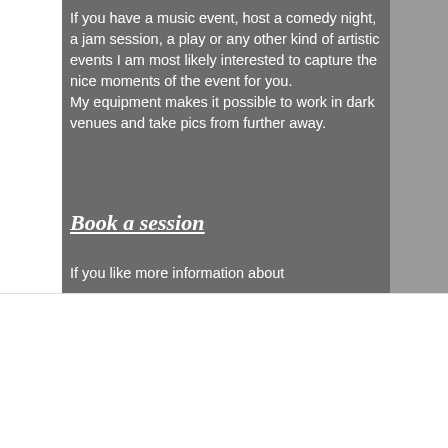[Figure (photo): Dark gray textured background panel with white text overlay describing photography services for music events and artistic events, with a 'Book a session' heading and partial text below.]
If you have a music event, host a comedy night, a jam session, a play or any other kind of artistic events I am most likely interested to capture the nice moments of the event for you. My equipment makes it possible to work in dark venues and take pics from further away.
Book a session
If you like more information about
We use cookies on our website to see how you interact with it. By accepting, you agree to our use of such cookies. Privacy Policy